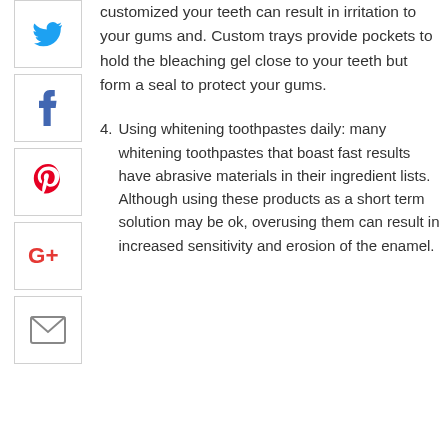customized your teeth can result in irritation to your gums and. Custom trays provide pockets to hold the bleaching gel close to your teeth but form a seal to protect your gums.
4. Using whitening toothpastes daily: many whitening toothpastes that boast fast results have abrasive materials in their ingredient lists. Although using these products as a short term solution may be ok, overusing them can result in increased sensitivity and erosion of the enamel.